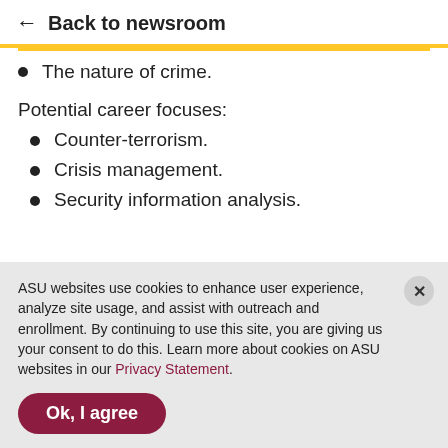← Back to newsroom
The nature of crime.
Potential career focuses:
Counter-terrorism.
Crisis management.
Security information analysis.
ASU websites use cookies to enhance user experience, analyze site usage, and assist with outreach and enrollment. By continuing to use this site, you are giving us your consent to do this. Learn more about cookies on ASU websites in our Privacy Statement.
Ok, I agree
Apply now   Contact